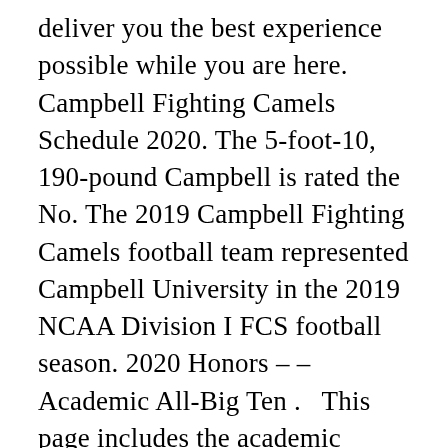deliver you the best experience possible while you are here. Campbell Fighting Camels Schedule 2020. The 5-foot-10, 190-pound Campbell is rated the No. The 2019 Campbell Fighting Camels football team represented Campbell University in the 2019 NCAA Division I FCS football season. 2020 Honors – – Academic All-Big Ten .   This page includes the academic calendar for Campbell University's main undergraduate campus.. For graduate/professional program and extended campus academic calendars, visit Adult & Online Education, Business, Divinity, Law, Medicine or Pharmacy & Health Sciences.. For the upcoming campus events calendar, visit